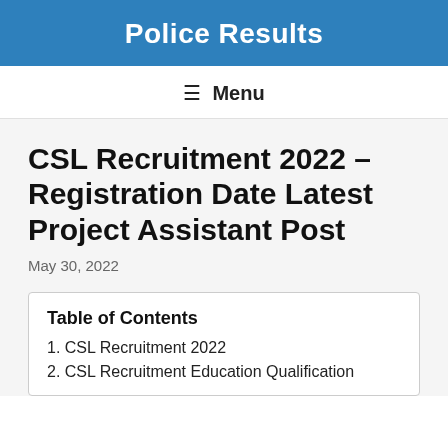Police Results
≡ Menu
CSL Recruitment 2022 – Registration Date Latest Project Assistant Post
May 30, 2022
Table of Contents
1. CSL Recruitment 2022
2. CSL Recruitment Education Qualification